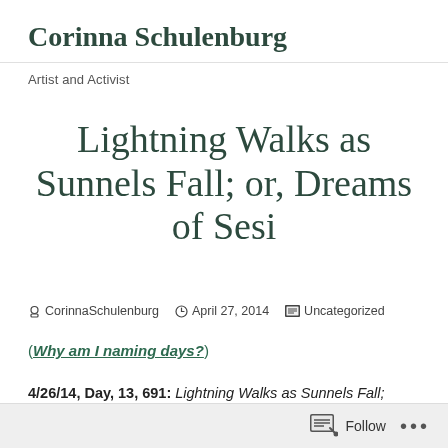Corinna Schulenburg
Artist and Activist
Lightning Walks as Sunnels Fall; or, Dreams of Sesi
CorinnaSchulenburg   April 27, 2014   Uncategorized
(Why am I naming days?)
4/26/14, Day, 13, 691: Lightning Walks as Sunnels Fall;
Follow  ...